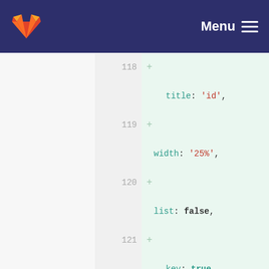[Figure (screenshot): GitLab navigation bar with logo and Menu hamburger icon on dark navy background]
118 +
                    title: 'id',
119 +
                    width: '25%',
120 +
                    list: false,
121 +
                    key: true
122 +
                },
123 +